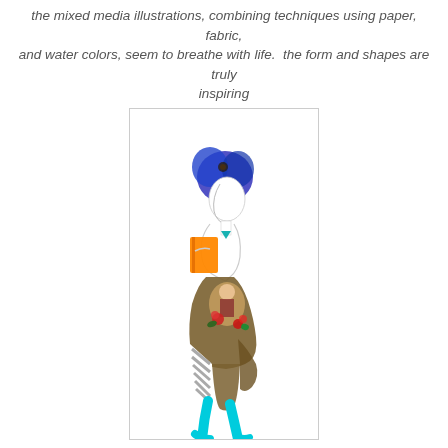the mixed media illustrations, combining techniques using paper, fabric, and water colors, seem to breathe with life.  the form and shapes are truly inspiring
[Figure (illustration): Mixed media fashion illustration of a figure with blue hair wearing a layered outfit composed of collaged elements including a brown skirt with florals and a striped section, cyan tights/legs, holding an orange book/bag, with a teal triangular neckpiece. The figure is drawn in a loose, gestural line style with watercolor and paper collage elements.]